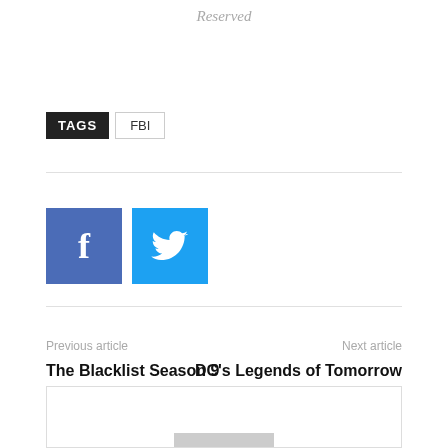Reserved
TAGS  FBI
[Figure (other): Facebook and Twitter social share buttons]
Previous article
Next article
The Blacklist Season 9 Episode Guide
DC's Legends of Tomorrow Season 7